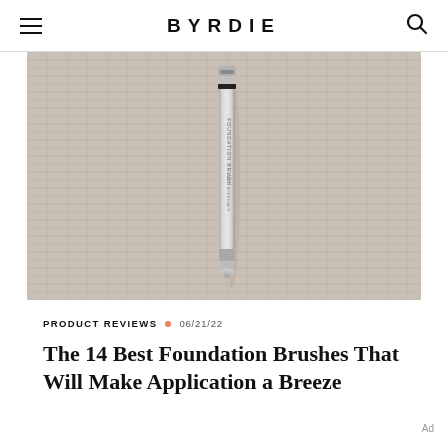BYRDIE
[Figure (photo): A silver/metallic foundation brush or cosmetic pen lying on a beige linen fabric background, photographed from above]
PRODUCT REVIEWS • 06/21/22
The 14 Best Foundation Brushes That Will Make Application a Breeze
Ad